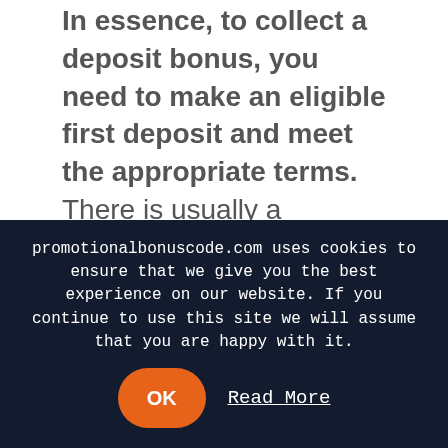In essence, to collect a deposit bonus, you need to make an eligible first deposit and meet the appropriate terms. There is usually a minimum amount that you will need to place. Sometimes there can be limitations when it comes to eligible payment options. For this reason, make sure to read the fine print entailing bonus T&Cs before opting for this online bingo bonus.
FREE BINGO TICKETS
This is a very common bonus type that players in
promotionalbonuscode.com uses cookies to ensure that we give you the best experience on our website. If you continue to use this site we will assume that you are happy with it.